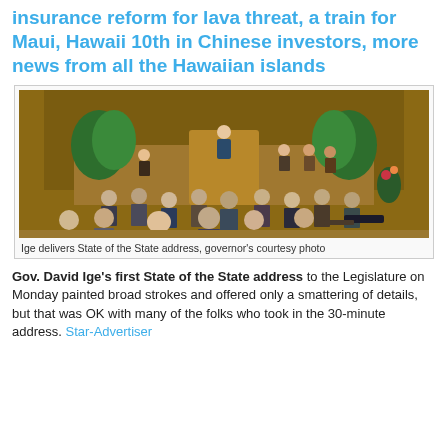insurance reform for lava threat, a train for Maui, Hawaii 10th in Chinese investors, more news from all the Hawaiian islands
[Figure (photo): Ige delivers State of the State address in the Hawaii Legislature chamber, with attendees seated, plants and decorations visible on stage.]
Ige delivers State of the State address, governor's courtesy photo
Gov. David Ige's first State of the State address to the Legislature on Monday painted broad strokes and offered only a smattering of details, but that was OK with many of the folks who took in the 30-minute address. Star-Advertiser